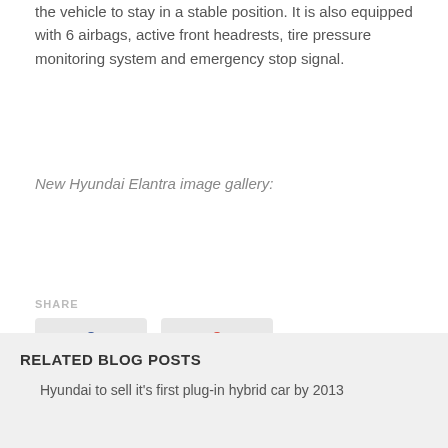the vehicle to stay in a stable position. It is also equipped with 6 airbags, active front headrests, tire pressure monitoring system and emergency stop signal.
New Hyundai Elantra image gallery:
SHARE
[Figure (other): Social share buttons showing Facebook (0) and Google+ (0) share counts with speech bubble counters above social media icons]
RELATED BLOG POSTS
Hyundai to sell it's first plug-in hybrid car by 2013